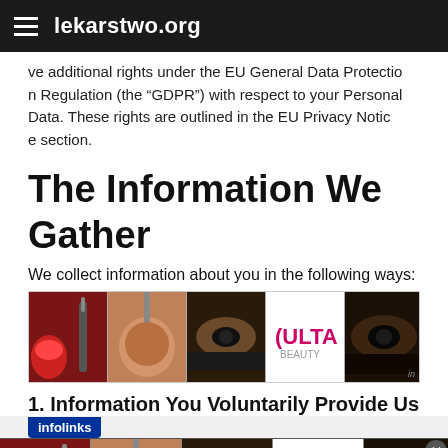lekarstwo.org
ve additional rights under the EU General Data Protection Regulation (the “GDPR”) with respect to your Personal Data. These rights are outlined in the EU Privacy Notice section.
The Information We Gather
We collect information about you in the following ways:
[Figure (screenshot): ULTA beauty advertisement banner with makeup images and SHOP NOW text]
1. Information You Voluntarily Provide Us
[Figure (screenshot): ULTA beauty advertisement overlay banner with makeup images, SHOP NOW text, infolinks label, and close button]